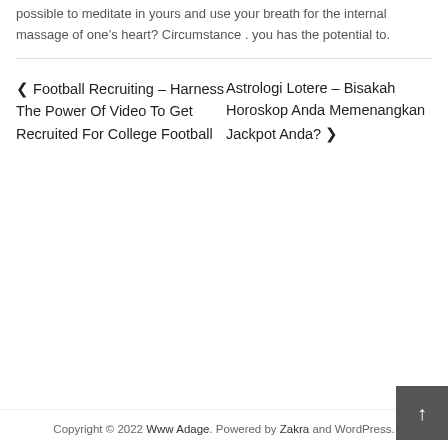possible to meditate in yours and use your breath for the internal massage of one's heart? Circumstance . you has the potential to.
◄ Football Recruiting – Harness The Power Of Video To Get Recruited For College Football
Astrologi Lotere – Bisakah Horoskop Anda Memenangkan Jackpot Anda? ►
Copyright © 2022 Www Adage. Powered by Zakra and WordPress.